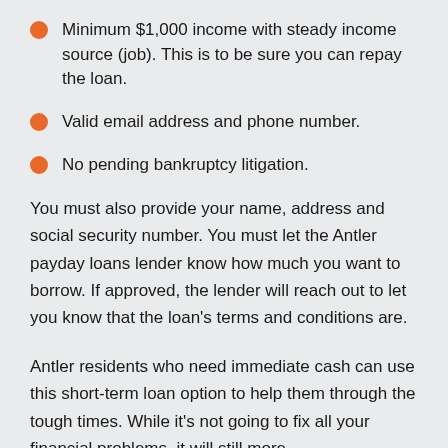Minimum $1,000 income with steady income source (job). This is to be sure you can repay the loan.
Valid email address and phone number.
No pending bankruptcy litigation.
You must also provide your name, address and social security number. You must let the Antler payday loans lender know how much you want to borrow. If approved, the lender will reach out to let you know that the loan's terms and conditions are.
Antler residents who need immediate cash can use this short-term loan option to help them through the tough times. While it's not going to fix all your financial problems, it will still more...